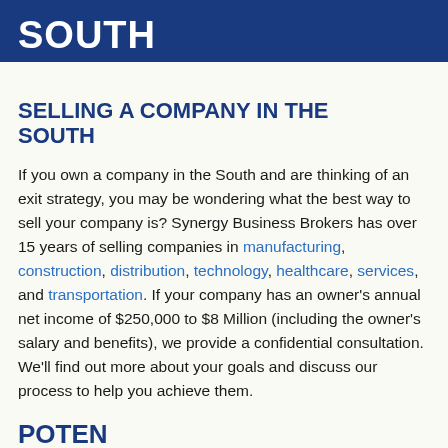SOUTH
SELLING A COMPANY IN THE SOUTH
If you own a company in the South and are thinking of an exit strategy, you may be wondering what the best way to sell your company is? Synergy Business Brokers has over 15 years of selling companies in manufacturing, construction, distribution, technology, healthcare, services, and transportation. If your company has an owner's annual net income of $250,000 to $8 Million (including the owner's salary and benefits), we provide a confidential consultation. We'll find out more about your goals and discuss our process to help you achieve them.
POTEN